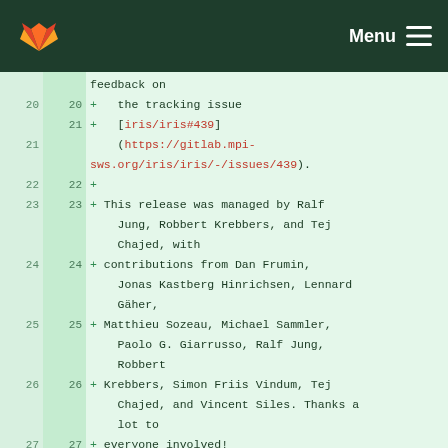[Figure (screenshot): GitLab navigation bar with orange fox logo on left and Menu with hamburger icon on right, dark green background]
feedback on
20  +    the tracking issue
21  +    [iris/iris#439](https://gitlab.mpi-sws.org/iris/iris/-/issues/439).
22  +
23  + This release was managed by Ralf Jung, Robbert Krebbers, and Tej Chajed, with
24  + contributions from Dan Frumin, Jonas Kastberg Hinrichsen, Lennard Gäher,
25  + Matthieu Sozeau, Michael Sammler, Paolo G. Giarrusso, Ralf Jung, Robbert
26  + Krebbers, Simon Friis Vindum, Tej Chajed, and Vincent Siles. Thanks a lot to
27  + everyone involved!
28